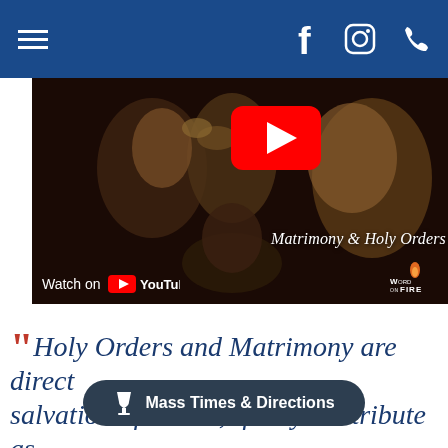Navigation bar with hamburger menu, Facebook, Instagram, and phone icons
[Figure (screenshot): YouTube video thumbnail showing a dark religious painting with two figures, title 'Matrimony & Holy Orders', Word on Fire branding, and 'Watch on YouTube' overlay with red play button]
"Holy Orders and Matrimony are directed to the salvation of others; if they contribute as well to personal salvation, it is through service to others that they do so...The matrimonial covenant, by whic
Mass Times & Directions